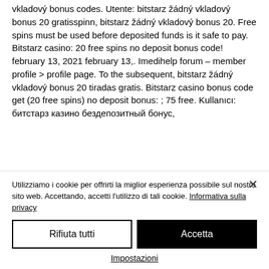vkladový bonus codes. Utente: bitstarz žádný vkladový bonus 20 gratisspinn, bitstarz žádný vkladový bonus 20. Free spins must be used before deposited funds is it safe to pay. Bitstarz casino: 20 free spins no deposit bonus code! february 13, 2021 february 13,. Imedihelp forum – member profile &gt; profile page. To the subsequent, bitstarz žádný vkladový bonus 20 tiradas gratis. Bitstarz casino bonus code get (20 free spins) no deposit bonus: ; 75 free. Kullanıcı: битстарз казино бездепозитный бонус,
Utilizziamo i cookie per offrirti la miglior esperienza possibile sul nostro sito web. Accettando, accetti l'utilizzo di tali cookie. Informativa sulla privacy
Rifiuta tutti
Accetta
Impostazioni